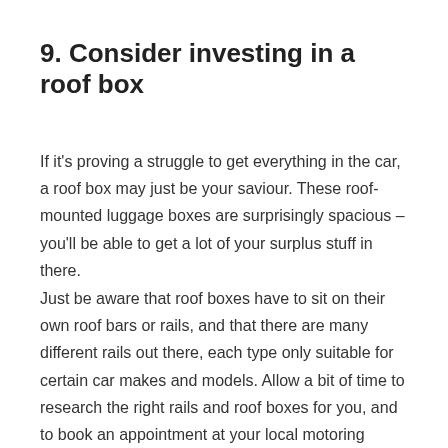9. Consider investing in a roof box
If it's proving a struggle to get everything in the car, a roof box may just be your saviour. These roof-mounted luggage boxes are surprisingly spacious – you'll be able to get a lot of your surplus stuff in there.
Just be aware that roof boxes have to sit on their own roof bars or rails, and that there are many different rails out there, each type only suitable for certain car makes and models. Allow a bit of time to research the right rails and roof boxes for you, and to book an appointment at your local motoring accessories store